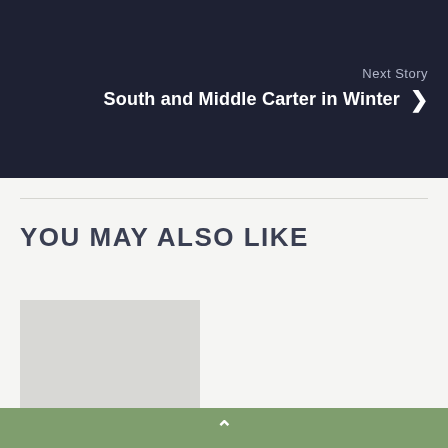[Figure (other): Dark navy banner with 'Next Story' label and title 'South and Middle Carter in Winter' with a right-pointing chevron arrow]
Next Story
South and Middle Carter in Winter
YOU MAY ALSO LIKE
[Figure (photo): Placeholder image area for a related article card]
Hiking Mount
^